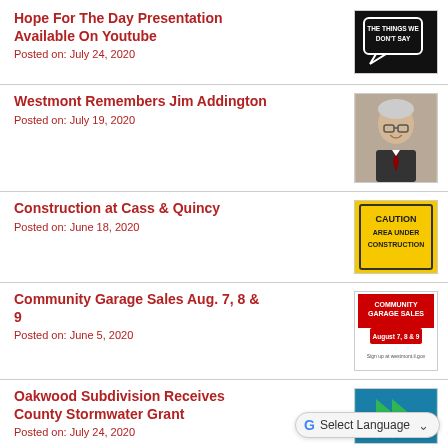Hope For The Day Presentation Available On Youtube
Posted on: July 24, 2020
[Figure (photo): Black speech bubble graphic with text: THE THINGS WE DON'T SAY]
Westmont Remembers Jim Addington
Posted on: July 19, 2020
[Figure (photo): Portrait photo of Jim Addington, a smiling older man with glasses and grey hair, wearing a suit and tie]
Construction at Cass & Quincy
Posted on: June 18, 2020
[Figure (photo): Yellow caution sign reading: CAUTION AREA UNDER CONSTRUCTION]
Community Garage Sales Aug. 7, 8 & 9
Posted on: June 5, 2020
[Figure (photo): Community Garage Sales promotional graphic, August 7, 8 & 9, with red, white and blue colors]
Oakwood Subdivision Receives County Stormwater Grant
Posted on: July 24, 2020
[Figure (photo): Partial view of blue and green stormwater grant graphic]